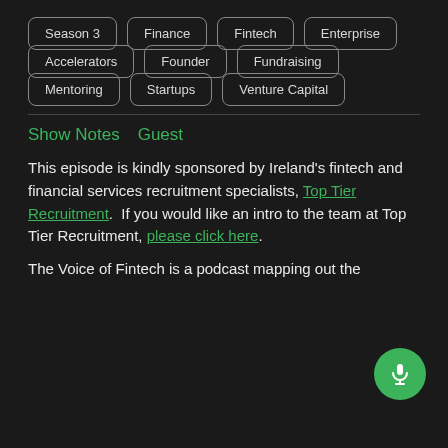Season 3
Finance
Fintech
Enterprise
Accelerators
Founder
Fundraising
Mentoring
Startups
Venture Capital
Show Notes   Guest
This episode is kindly sponsored by Ireland's fintech and financial services recruitment specialists, Top Tier Recruitment.  If you would like an intro to the team at Top Tier Recruitment, please click here.
The Voice of Fintech is a podcast mapping out the